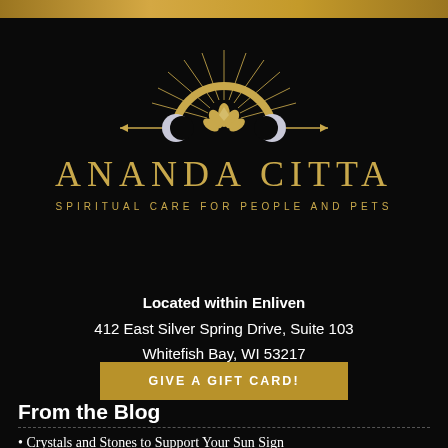[Figure (logo): Ananda Citta logo on black background with gold sun rays, crescent moons, lotus flower, arrows, and text 'ANANDA CITTA SPIRITUAL CARE FOR PEOPLE AND PETS' in gold lettering]
Located within Enliven
412 East Silver Spring Drive, Suite 103
Whitefish Bay, WI 53217
GIVE A GIFT CARD!
From the Blog
Crystals and Stones to Support Your Sun Sign
Crystal Grids for Growth and Manifestation